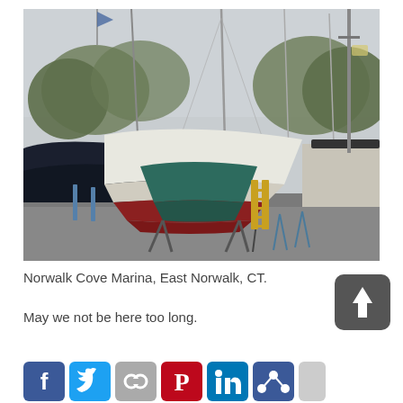[Figure (photo): Sailboats on dry land at a marina boatyard. Several sailboat hulls propped up on stands, with dark navy and white hulls visible, red antifouling paint on the bottoms. Green trees in background, overcast sky, metal masts rising up. Looks like a rainy day at a storage yard.]
Norwalk Cove Marina, East Norwalk, CT.
May we not be here too long.
[Figure (illustration): Dark rounded square button with white upward arrow icon — a share/upload button.]
[Figure (illustration): Social media sharing icons in a row: Facebook (blue f), Twitter (blue bird), Pinterest/chain link (grey), Pinterest (red P), LinkedIn (blue in), another social icon (blue), and a grey icon partially visible.]